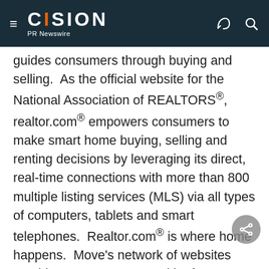CISION PR Newswire
guides consumers through buying and selling. As the official website for the National Association of REALTORS®, realtor.com® empowers consumers to make smart home buying, selling and renting decisions by leveraging its direct, real-time connections with more than 800 multiple listing services (MLS) via all types of computers, tablets and smart telephones. Realtor.com® is where home happens. Move's network of websites provides consumers a wealth of innovative tools and accurate information including Doorsteps®, HomeInsightSM, SocialBiosSM, Moving.com™, homefairSM, SeniorHousingNetSM, and Relocation.com. Move supports real estate agents and brokerages by